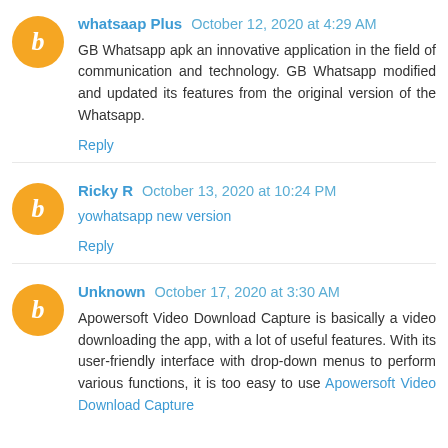whatsaap Plus October 12, 2020 at 4:29 AM
GB Whatsapp apk an innovative application in the field of communication and technology. GB Whatsapp modified and updated its features from the original version of the Whatsapp.
Reply
Ricky R October 13, 2020 at 10:24 PM
yowhatsapp new version
Reply
Unknown October 17, 2020 at 3:30 AM
Apowersoft Video Download Capture is basically a video downloading the app, with a lot of useful features. With its user-friendly interface with drop-down menus to perform various functions, it is too easy to use Apowersoft Video Download Capture